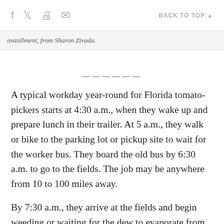f [facebook] [twitter] [print] [email] BACK TO TOP ▲
installment, from Sharon Zivada.
——————
A typical workday year-round for Florida tomato-pickers starts at 4:30 a.m., when they wake up and prepare lunch in their trailer. At 5 a.m., they walk or bike to the parking lot or pickup site to wait for the worker bus. They board the old bus by 6:30 a.m. to go to the fields. The job may be anywhere from 10 to 100 miles away.
By 7:30 a.m., they arrive at the fields and begin weeding or waiting for the dew to evaporate from the tomatoes; they usually are not paid for this time. They begin picking tomatoes by 9 a.m., filling